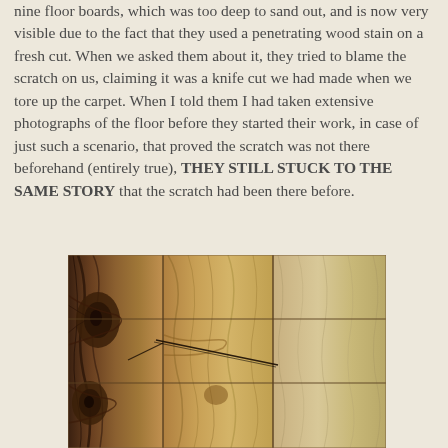nine floor boards, which was too deep to sand out, and is now very visible due to the fact that they used a penetrating wood stain on a fresh cut. When we asked them about it, they tried to blame the scratch on us, claiming it was a knife cut we had made when we tore up the carpet. When I told them I had taken extensive photographs of the floor before they started their work, in case of just such a scenario, that proved the scratch was not there beforehand (entirely true), THEY STILL STUCK TO THE SAME STORY that the scratch had been there before.
[Figure (photo): Close-up photograph of hardwood floor boards showing wood grain patterns, knots, and visible scratch/cut marks across multiple boards. The wood appears to be ash or similar light hardwood with dark grain streaks.]